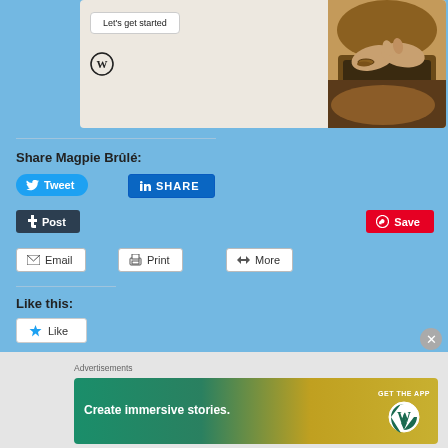[Figure (screenshot): Blog card widget with 'Let's get started' button, WordPress logo, and photo of hands on laptop]
Share Magpie Brûlé:
[Figure (screenshot): Tweet button (Twitter/X social share)]
[Figure (screenshot): LinkedIn SHARE button]
[Figure (screenshot): Tumblr Post button]
[Figure (screenshot): Pinterest Save button]
[Figure (screenshot): Email button]
[Figure (screenshot): Print button]
[Figure (screenshot): More button]
Like this:
[Figure (screenshot): Like button with star icon]
Be the first to like this.
Advertisements
[Figure (screenshot): WordPress advertisement banner: 'Create immersive stories. GET THE APP' with WordPress logo]